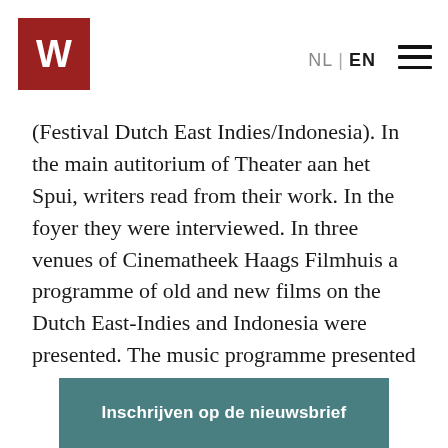[Figure (logo): Dark red square with white W letter logo]
NL | EN ≡
(Festival Dutch East Indies/Indonesia). In the main autitorium of Theater aan het Spui, writers read from their work. In the foyer they were interviewed. In three venues of Cinematheek Haags Filmhuis a programme of old and new films on the Dutch East-Indies and Indonesia were presented. The music programme presented Krontjong, the Blue Diamonds, Indo-rock and a show by Anneke Grönloh. You can download the complete festival programme magazine as a pdf here.
Inschrijven op de nieuwsbrief